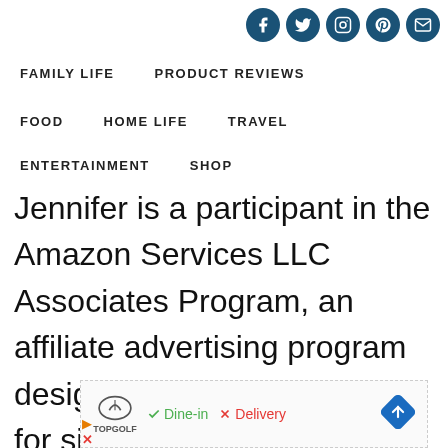Social media icons: Facebook, Twitter, Instagram, Pinterest, Email
FAMILY LIFE   PRODUCT REVIEWS
FOOD   HOME LIFE   TRAVEL
ENTERTAINMENT   SHOP
Jennifer is a participant in the Amazon Services LLC Associates Program, an affiliate advertising program designed to provide a means for sites to earn
[Figure (screenshot): Advertisement banner showing TopGolf logo with Dine-in checkmark and Delivery X marks, and a blue diamond navigation arrow icon]